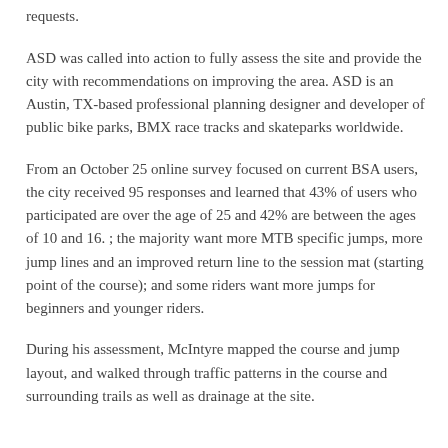maintenance staff has not been able to accommodate recent requests.
ASD was called into action to fully assess the site and provide the city with recommendations on improving the area. ASD is an Austin, TX-based professional planning designer and developer of public bike parks, BMX race tracks and skateparks worldwide.
From an October 25 online survey focused on current BSA users, the city received 95 responses and learned that 43% of users who participated are over the age of 25 and 42% are between the ages of 10 and 16. ; the majority want more MTB specific jumps, more jump lines and an improved return line to the session mat (starting point of the course); and some riders want more jumps for beginners and younger riders.
During his assessment, McIntyre mapped the course and jump layout, and walked through traffic patterns in the course and surrounding trails as well as drainage at the site.